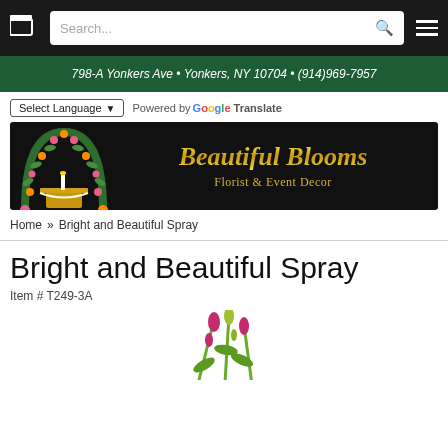Cart | Search... | Menu
798-A Yonkers Ave • Yonkers, NY 10704 • (914)969-7957
Select Language | Powered by Google Translate
[Figure (logo): Beautiful Blooms Florist & Event Decor logo on black background with floral arch]
Home » Bright and Beautiful Spray
Bright and Beautiful Spray
Item # T249-3A
[Figure (photo): Partial view of flower spray arrangement with green stems and blooms]